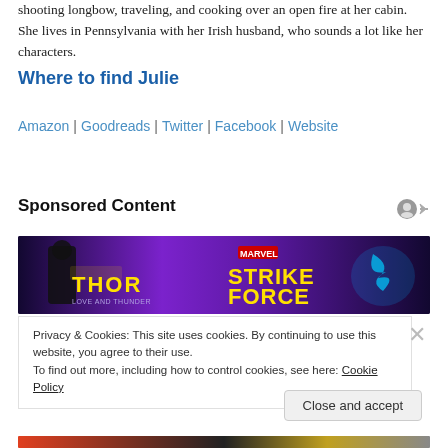shooting longbow, traveling, and cooking over an open fire at her cabin. She lives in Pennsylvania with her Irish husband, who sounds a lot like her characters.
Where to find Julie
Amazon | Goodreads | Twitter | Facebook | Website
Sponsored Content
[Figure (photo): Marvel Thor: Love and Thunder / Strike Force game advertisement banner with purple background and comic characters]
Privacy & Cookies: This site uses cookies. By continuing to use this website, you agree to their use.
To find out more, including how to control cookies, see here: Cookie Policy
Close and accept